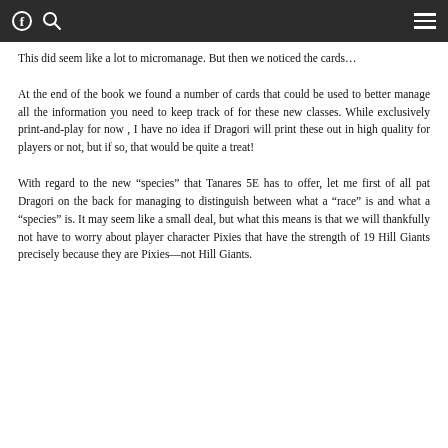[Facebook icon] [Search icon] [Hamburger menu]
This did seem like a lot to micromanage. But then we noticed the cards…
At the end of the book we found a number of cards that could be used to better manage all the information you need to keep track of for these new classes. While exclusively print-and-play for now , I have no idea if Dragori will print these out in high quality for players or not, but if so, that would be quite a treat!
With regard to the new “species” that Tanares 5E has to offer, let me first of all pat Dragori on the back for managing to distinguish between what a “race” is and what a “species” is. It may seem like a small deal, but what this means is that we will thankfully not have to worry about player character Pixies that have the strength of 19 Hill Giants precisely because they are Pixies—not Hill Giants.